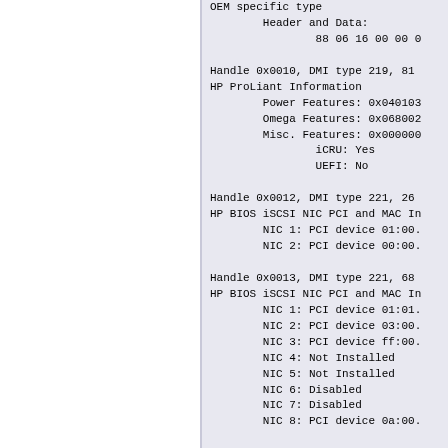OEM specific type
        Header and Data:
                88 06 16 00 00 0

Handle 0x0010, DMI type 219, 81
HP ProLiant Information
        Power Features: 0x040103
        Omega Features: 0x068002
        Misc. Features: 0x000000
                iCRU: Yes
                UEFI: No

Handle 0x0012, DMI type 221, 26
HP BIOS iSCSI NIC PCI and MAC In
        NIC 1: PCI device 01:00.
        NIC 2: PCI device 00:00.

Handle 0x0013, DMI type 221, 68
HP BIOS iSCSI NIC PCI and MAC In
        NIC 1: PCI device 01:01.
        NIC 2: PCI device 03:00.
        NIC 3: PCI device ff:00.
        NIC 4: Not Installed
        NIC 5: Not Installed
        NIC 6: Disabled
        NIC 7: Disabled
        NIC 8: PCI device 0a:00.

Handle 0x0014, DMI type 221, 54
HP BIOS iSCSI NIC PCI and MAC In
        NIC 1: PCI device 01:00.
        NIC 2: PCI device 00:00.
        NIC 3: PCI device 02:00.